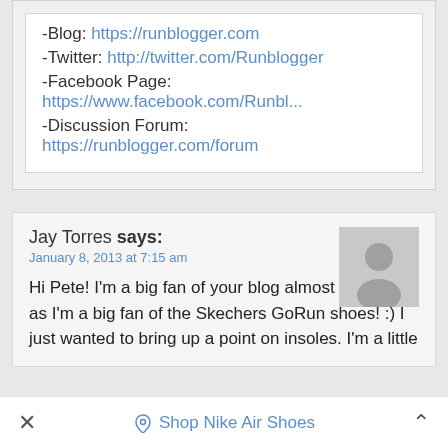-Blog: https://runblogger.com
-Twitter: http://twitter.com/Runblogger
-Facebook Page: https://www.facebook.com/Runbl...
-Discussion Forum: https://runblogger.com/forum
Jay Torres says:
January 8, 2013 at 7:15 am
Hi Pete! I'm a big fan of your blog almost as much as I'm a big fan of the Skechers GoRun shoes! :) I just wanted to bring up a point on insoles. I'm a little
× Shop Nike Air Shoes ^